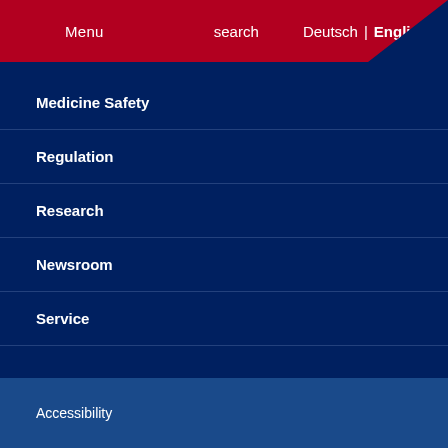Menu  search  Deutsch | English
Medicine Safety
Regulation
Research
Newsroom
Service
Accessibility